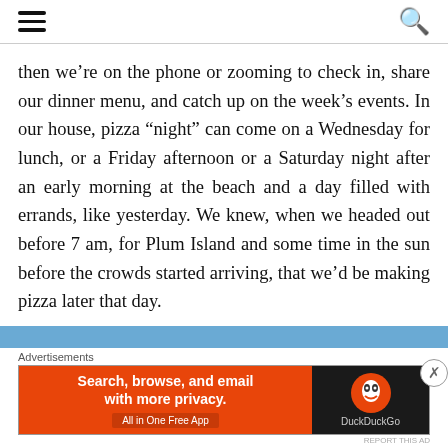[hamburger menu] [search icon]
then we’re on the phone or zooming to check in, share our dinner menu, and catch up on the week’s events. In our house, pizza “night” can come on a Wednesday for lunch, or a Friday afternoon or a Saturday night after an early morning at the beach and a day filled with errands, like yesterday. We knew, when we headed out before 7 am, for Plum Island and some time in the sun before the crowds started arriving, that we’d be making pizza later that day.
[Figure (screenshot): Advertisement banner for DuckDuckGo: orange left panel with text 'Search, browse, and email with more privacy. All in One Free App' and dark right panel with DuckDuckGo logo and name.]